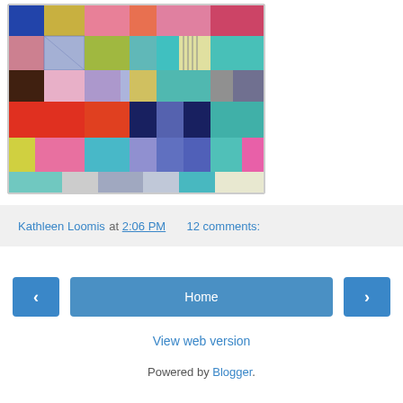[Figure (photo): A colorful patchwork quilt made of many different fabric pieces in various colors including teal, pink, red, blue, yellow, olive green, gray, and patterned fabrics arranged in a log cabin or scrappy quilt block style.]
Kathleen Loomis at 2:06 PM    12 comments:
< Home >
View web version
Powered by Blogger.